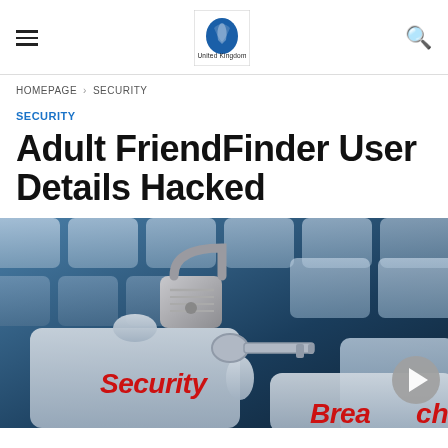≡ [Logo: United Kingdom] 🔍
HOMEPAGE › SECURITY
SECURITY
Adult FriendFinder User Details Hacked
[Figure (photo): Close-up photo of keyboard keys with a padlock and puzzle pieces labeled 'Security' and 'Breach' in red text, on a blue-tinted background.]